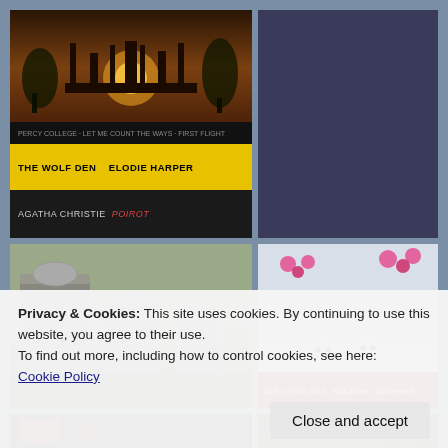[Figure (photo): Top-left photo: Stack of books including 'The Wolf Den' by Elodie Harper (yellow cover), an Agatha Christie Poirot book, and a dark novel, with temple/ruins scene in background]
[Figure (photo): Top-right photo: Multiple book covers including 'EAST', 'Mrs Poe', 'Eyes Like Stars', and other fantasy/YA novels arranged in a grid]
[Figure (photo): Mid-left photo: Graveyard with stone grave markers on grass]
[Figure (photo): Mid-right photo: Book cover 'Rules for Vampires' by Alex Foulkes with red banner, snow/winter scene with animal skulls and pink flowers above]
Privacy & Cookies: This site uses cookies. By continuing to use this website, you agree to their use.
To find out more, including how to control cookies, see here:
Cookie Policy
[Figure (photo): Bottom-left partial photo: dark interior scene]
[Figure (photo): Bottom-right partial photo: green foliage scene]